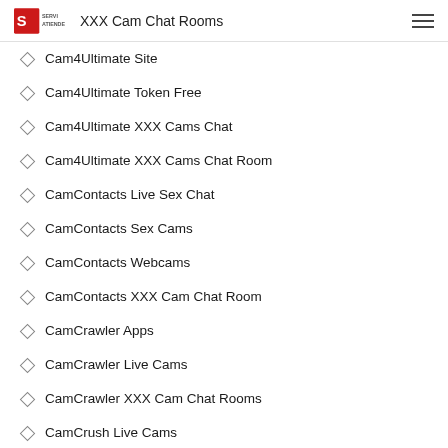XXX Cam Chat Rooms
Cam4Ultimate Site
Cam4Ultimate Token Free
Cam4Ultimate XXX Cams Chat
Cam4Ultimate XXX Cams Chat Room
CamContacts Live Sex Chat
CamContacts Sex Cams
CamContacts Webcams
CamContacts XXX Cam Chat Room
CamCrawler Apps
CamCrawler Live Cams
CamCrawler XXX Cam Chat Rooms
CamCrush Live Cams
CamCrush Mobile
CamCrush Webcams
CamCrush XXX Cams Chat Room
CamDolls Apps